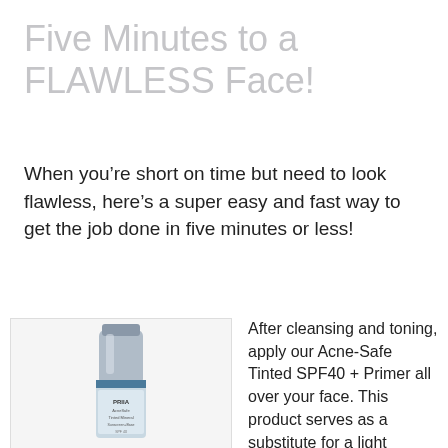Five Minutes to a FLAWLESS Face!
When you’re short on time but need to look flawless, here’s a super easy and fast way to get the job done in five minutes or less!
[Figure (photo): Product bottle of PRIIA Acne-Safe Tinted Mineral Sunscreen/Base SPF40, a slim silver and blue pump bottle]
After cleansing and toning, apply our Acne-Safe Tinted SPF40 + Primer all over your face. This product serves as a substitute for a light